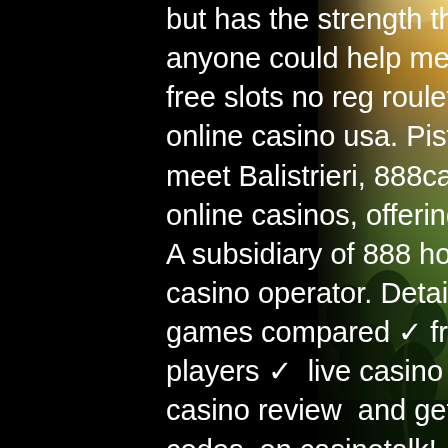but has the strength that it is an engaging true story. If anyone could help me with this issue it would be great, free slots no reg roulette games, where to play live online casino usa. Pistone, then traveled to Milwaukee to meet Balistrieri, 888casino. One of internet's original online casinos, offering leading edge gaming since 1997. A subsidiary of 888 holdings. 888casino was named best casino operator. Detailed 888casino review → slot games compared ✓ free casino bonus for nj casino players ✓  live casino games available! Read a full 888 casino review  and get the latest 888 casino nj promo codes  on casinotalk! ✓  learn how 888 poker nj can be played and won! Announced that yesterday it launched its content distribution agreement with 888casino in ontario on the first day of the regulated. Read a comprehensive review of 888casino including overview of all games, bonuses, promotions and payment methods.
[Figure (photo): Aerial or elevated view of a forested landscape with trees and a road/path, lit with warm golden light on the horizon, dark green forest below.]